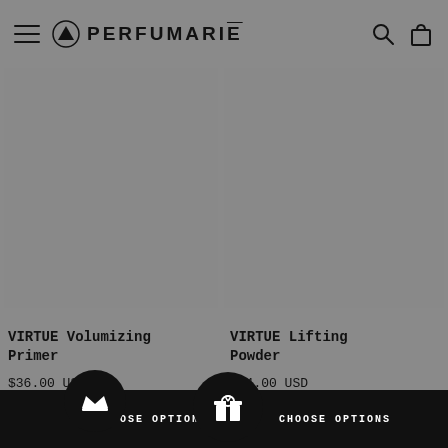PERFUMARIÉ
[Figure (photo): Product image placeholder for VIRTUE Volumizing Primer, grey rectangle]
VIRTUE Volumizing Primer
$36.00 USD
[Figure (photo): Product image placeholder for VIRTUE Lifting Powder, grey rectangle]
VIRTUE Lifting Powder
$34.00 USD
CHOOSE OPTIONS
CHOOSE OPTIONS